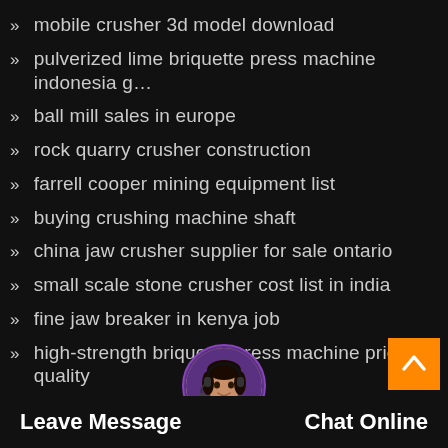mobile crusher 3d model download
pulverized lime briquette press machine indonesia g…
ball mill sales in europe
rock quarry crusher construction
farrell cooper mining equipment list
buying crushing machine shaft
china jaw crusher supplier for sale ontario
small scale stone crusher cost list in india
fine jaw breaker in kenya job
high-strength briquette press machine price quality
history of rock crushers
sand making machinery india
stone ball mill manufactu…0tph zone
grinding machine with 8hp lister engine
Leave Message   Chat Online